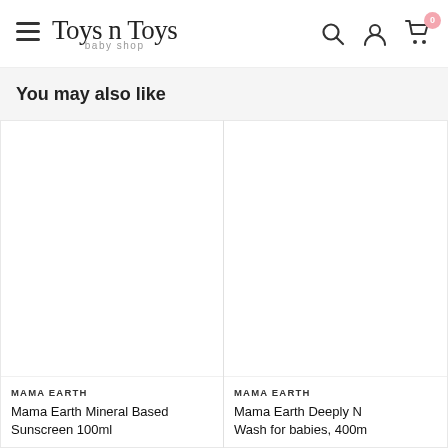Toys n Toys baby shop
You may also like
[Figure (photo): Product image placeholder for Mama Earth Mineral Based Sunscreen 100ml]
MAMA EARTH
Mama Earth Mineral Based Sunscreen 100ml
[Figure (photo): Product image placeholder for Mama Earth Deeply Nourishing Wash for babies, 400ml]
MAMA EARTH
Mama Earth Deeply Nourishing Wash for babies, 400ml